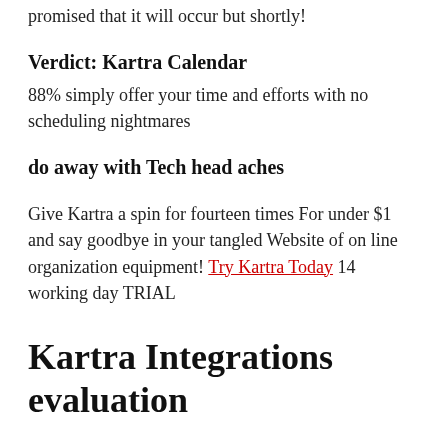promised that it will occur but shortly!
Verdict: Kartra Calendar
88% simply offer your time and efforts with no scheduling nightmares
do away with Tech head aches
Give Kartra a spin for fourteen times For under $1 and say goodbye in your tangled Website of on line organization equipment! Try Kartra Today 14 working day TRIAL
Kartra Integrations evaluation